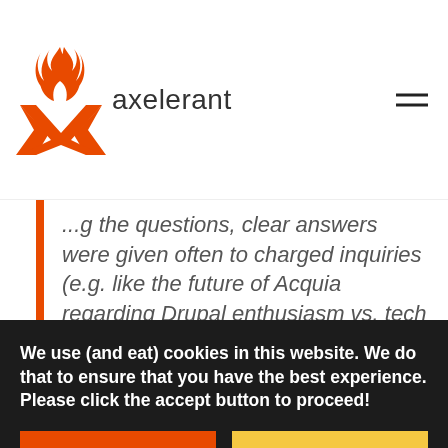[Figure (logo): Axelerant logo: orange stylized X with flame on top, followed by the word 'axelerant' in dark gray sans-serif]
...g the questions, clear answers were given often to charged inquiries (e.g. like the future of Acquia regarding Drupal enthusiasm vs. tech agnosticism or issues around Drupal marketing solutions).
A shout out to Patrick Goulet and Reena ...
We use (and eat) cookies in this website. We do that to ensure that you have the best experience. Please click the accept button to proceed!
ACCEPT COOKIES
DECLINE